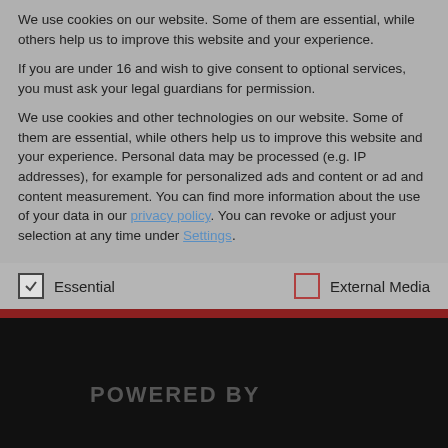We use cookies on our website. Some of them are essential, while others help us to improve this website and your experience.
If you are under 16 and wish to give consent to optional services, you must ask your legal guardians for permission.
We use cookies and other technologies on our website. Some of them are essential, while others help us to improve this website and your experience. Personal data may be processed (e.g. IP addresses), for example for personalized ads and content or ad and content measurement. You can find more information about the use of your data in our privacy policy. You can revoke or adjust your selection at any time under Settings.
Essential
External Media
Accept all
USEFUL LINKS
Newsletter
Media Data
Team & Contact
POWERED BY